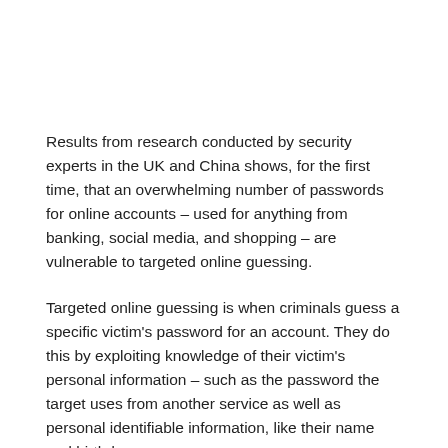Results from research conducted by security experts in the UK and China shows, for the first time, that an overwhelming number of passwords for online accounts – used for anything from banking, social media, and shopping – are vulnerable to targeted online guessing.
Targeted online guessing is when criminals guess a specific victim's password for an account. They do this by exploiting knowledge of their victim's personal information – such as the password the target uses from another service as well as personal identifiable information, like their name and birthday.
Many people tend to reuse passwords across multiple web-based services and also use personal information within their